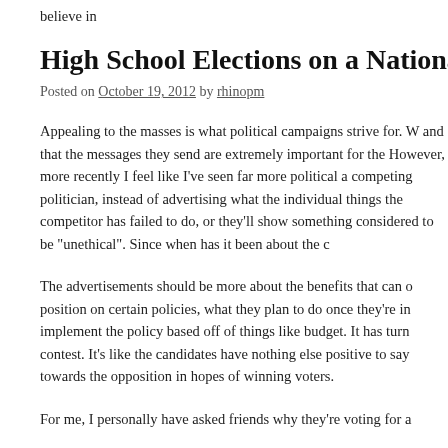believe in
High School Elections on a National Level
Posted on October 19, 2012 by rhinopm
Appealing to the masses is what political campaigns strive for. W and that the messages they send are extremely important for the However, more recently I feel like I've seen far more political a competing politician, instead of advertising what the individual things the competitor has failed to do, or they'll show something considered to be "unethical". Since when has it been about the c
The advertisements should be more about the benefits that can o position on certain policies, what they plan to do once they're in implement the policy based off of things like budget. It has turn contest. It's like the candidates have nothing else positive to say towards the opposition in hopes of winning voters.
For me, I personally have asked friends why they're voting for a